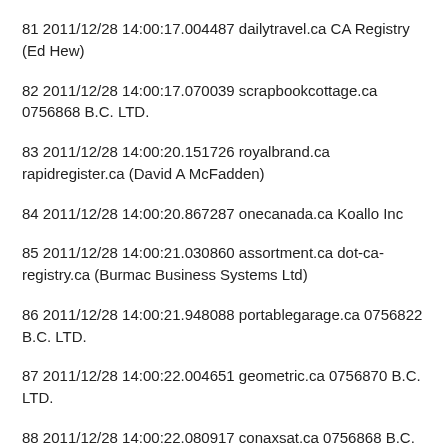81 2011/12/28 14:00:17.004487 dailytravel.ca CA Registry (Ed Hew)
82 2011/12/28 14:00:17.070039 scrapbookcottage.ca 0756868 B.C. LTD.
83 2011/12/28 14:00:20.151726 royalbrand.ca rapidregister.ca (David A McFadden)
84 2011/12/28 14:00:20.867287 onecanada.ca Koallo Inc
85 2011/12/28 14:00:21.030860 assortment.ca dot-ca-registry.ca (Burmac Business Systems Ltd)
86 2011/12/28 14:00:21.948088 portablegarage.ca 0756822 B.C. LTD.
87 2011/12/28 14:00:22.004651 geometric.ca 0756870 B.C. LTD.
88 2011/12/28 14:00:22.080917 conaxsat.ca 0756868 B.C.